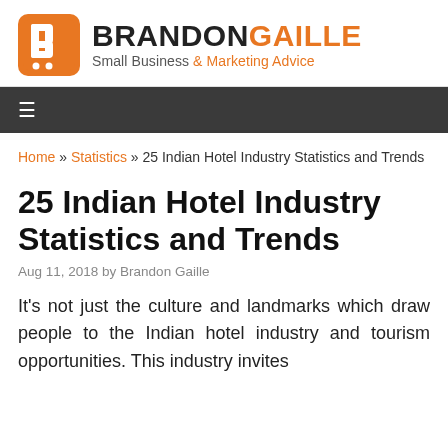[Figure (logo): Brandon Gaille logo with orange B icon and text 'BRANDONGAILLE Small Business & Marketing Advice']
≡
Home » Statistics » 25 Indian Hotel Industry Statistics and Trends
25 Indian Hotel Industry Statistics and Trends
Aug 11, 2018 by Brandon Gaille
It's not just the culture and landmarks which draw people to the Indian hotel industry and tourism opportunities. This industry invites